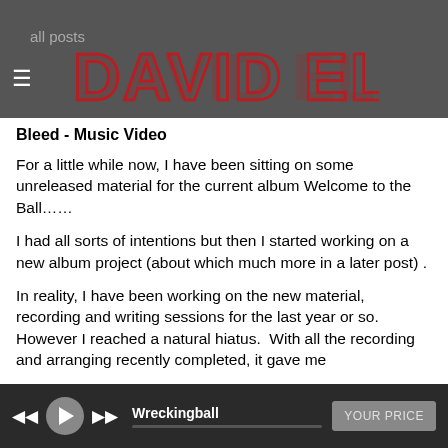all posts | DAVID ELL
Bleed - Music Video
For a little while now, I have been sitting on some unreleased material for the current album Welcome to the Ball……
I had all sorts of intentions but then I started working on a new album project (about which much more in a later post) .
In reality, I have been working on the new material, recording and writing sessions for the last year or so. However I reached a natural hiatus.  With all the recording and arranging recently completed, it gave me
Wreckingball | YOUR PRICE